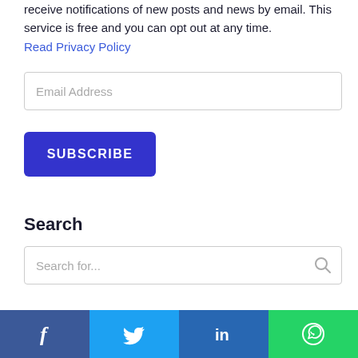receive notifications of new posts and news by email. This service is free and you can opt out at any time. Read Privacy Policy
Email Address
SUBSCRIBE
Search
Search for...
Download BA Digest!
[Figure (other): Social media share bar with Facebook, Twitter, LinkedIn, and WhatsApp icons]